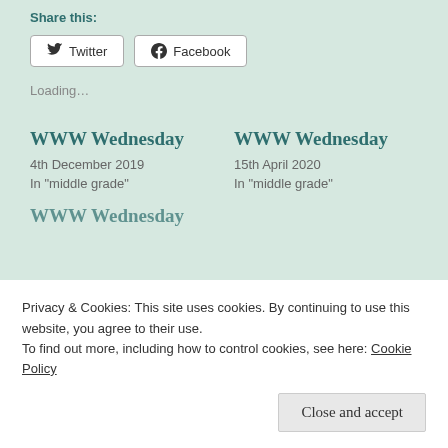Share this:
Twitter  Facebook
Loading…
WWW Wednesday
4th December 2019
In "middle grade"
WWW Wednesday
15th April 2020
In "middle grade"
WWW Wednesday
Privacy & Cookies: This site uses cookies. By continuing to use this website, you agree to their use.
To find out more, including how to control cookies, see here: Cookie Policy
Close and accept